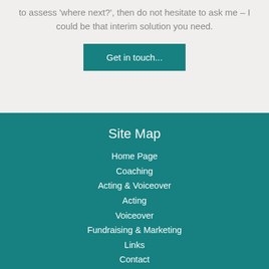to assess 'where next?', then do not hesitate to ask me – I could be that interim solution you need.
Get in touch...
Site Map
Home Page
Coaching
Acting & Voiceover
Acting
Voiceover
Fundraising & Marketing
Links
Contact